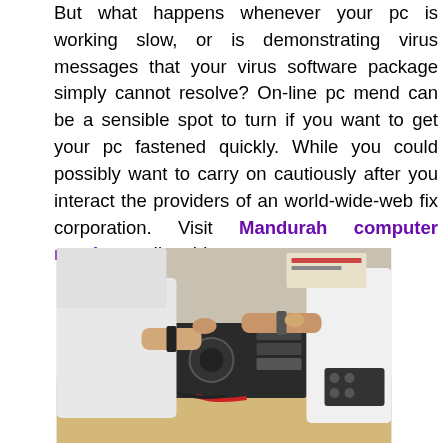But what happens whenever your pc is working slow, or is demonstrating virus messages that your virus software package simply cannot resolve? On-line pc mend can be a sensible spot to turn if you want to get your pc fastened quickly. While you could possibly want to carry on cautiously after you interact the providers of an world-wide-web fix corporation. Visit Mandurah computer repairs reading this.
[Figure (photo): Two people in white shirts working on an open desktop computer case on a table, performing hardware repairs.]
There are numerous world-wide-web ripoffs create to perform extra hurt than great towards your laptop or computer and identification. When you use on line computer system restore services from an mysterious